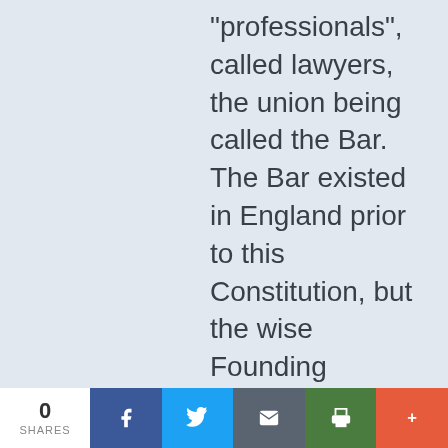“professionals”, called lawyers, the union being called the Bar. The Bar existed in England prior to this Constitution, but the wise Founding Fathers did NOT include the Bar in any aspect of this Constitution, not even saying “the
0 SHARES | Facebook | Twitter | Email | Print | +